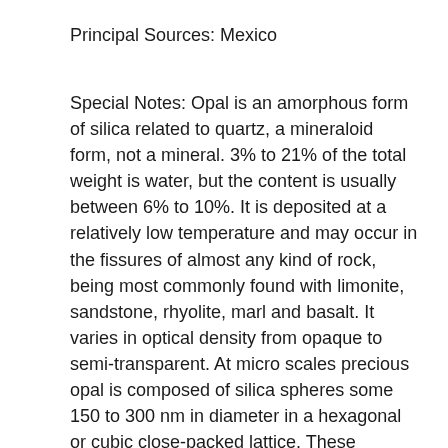Principal Sources: Mexico
Special Notes: Opal is an amorphous form of silica related to quartz, a mineraloid form, not a mineral. 3% to 21% of the total weight is water, but the content is usually between 6% to 10%. It is deposited at a relatively low temperature and may occur in the fissures of almost any kind of rock, being most commonly found with limonite, sandstone, rhyolite, marl and basalt. It varies in optical density from opaque to semi-transparent. At micro scales precious opal is composed of silica spheres some 150 to 300 nm in diameter in a hexagonal or cubic close-packed lattice. These ordered silica spheres produce the internal colors by causing the interference and diffraction of light passing through the microstructure of the opal. Girasols, more commonly called fire opals, are transparent to translucent opals with warm body colors of yellow, orange, orange-yellow or red. They